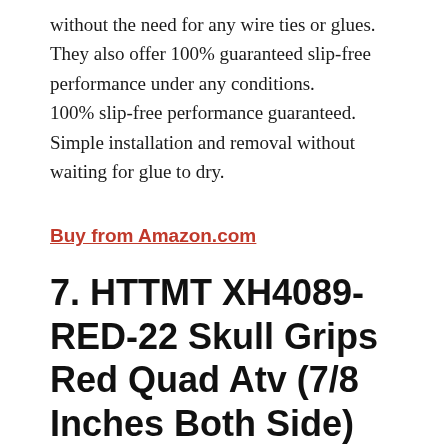without the need for any wire ties or glues. They also offer 100% guaranteed slip-free performance under any conditions. 100% slip-free performance guaranteed. Simple installation and removal without waiting for glue to dry.
Buy from Amazon.com
7. HTTMT XH4089-RED-22 Skull Grips Red Quad Atv (7/8 Inches Both Side)